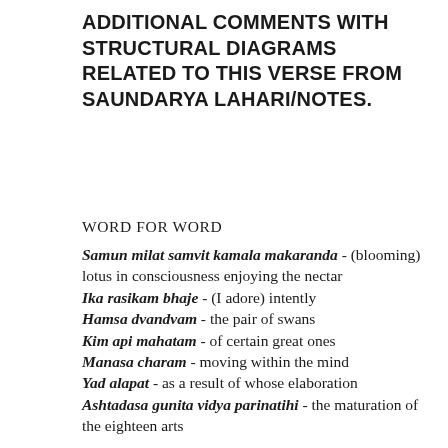ADDITIONAL COMMENTS WITH STRUCTURAL DIAGRAMS RELATED TO THIS VERSE FROM SAUNDARYA LAHARI/NOTES.
WORD FOR WORD
Samun milat samvit kamala makaranda - (blooming) lotus in consciousness enjoying the nectar
Ika rasikam bhaje - (I adore) intently
Hamsa dvandvam - the pair of swans
Kim api mahatam - of certain great ones
Manasa charam - moving within the mind
Yad alapat - as a result of whose elaboration
Ashtadasa gunita vidya parinatihi - the maturation of the eighteen arts